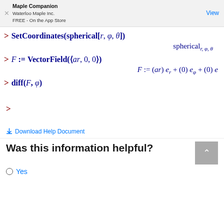Maple Companion
Waterloo Maple Inc.
FREE - On the App Store
View
>
⬇ Download Help Document
Was this information helpful?
Yes